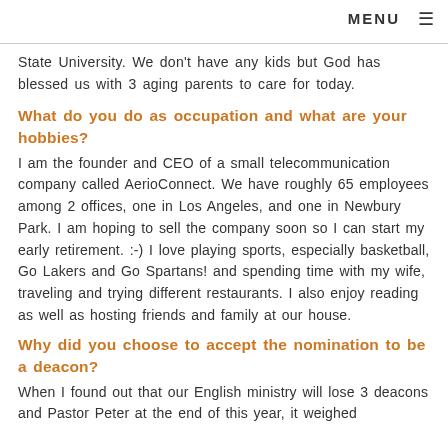MENU ≡
State University.  We don't have any kids but God has blessed us with 3 aging parents to care for today.
What do you do as occupation and what are your hobbies?
I am the founder and CEO of a small telecommunication company called AerioConnect.  We have roughly 65 employees among 2 offices, one in Los Angeles, and one in Newbury Park.  I am hoping to sell the company soon so I can start my early retirement. :-)  I love playing sports, especially basketball, Go Lakers and Go Spartans! and spending time with my wife, traveling and trying different restaurants.  I also enjoy reading as well as hosting friends and family at our house.
Why did you choose to accept the nomination to be a deacon?
When I found out that our English ministry will lose 3 deacons and Pastor Peter at the end of this year, it weighed